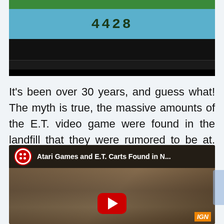[Figure (screenshot): Screenshot of an Atari video game screen showing a score or number '4428' on a blue background with green bar at top and black bars below]
It's been over 30 years, and guess what! The myth is true, the massive amounts of the E.T. video game were found in the landfill that they were rumored to be at. Check out this IGN.com video showing the found games, with cartridges and instruction booklets!
[Figure (screenshot): YouTube video thumbnail showing 'Atari Games and E.T. Carts Found in N...' with an image of Atari cartridges found in a landfill, dirt and soil visible, with YouTube play button overlay]